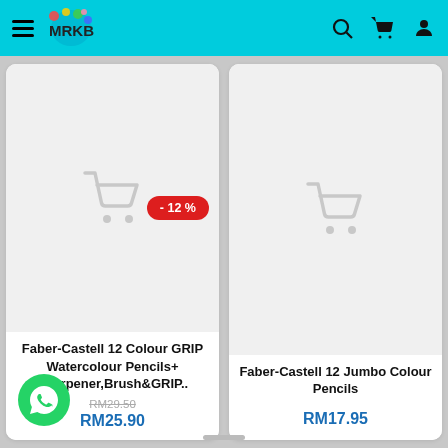MRKB store header with hamburger menu, logo, search, cart, and account icons
[Figure (screenshot): Product card for Faber-Castell 12 Colour GRIP Watercolour Pencils+ Sharpener,Brush&GRIP.. with cart placeholder image, -12% discount badge, original price RM29.50, sale price RM25.90]
Faber-Castell 12 Colour GRIP Watercolour Pencils+ Sharpener,Brush&GRIP..
RM29.50
RM25.90
[Figure (screenshot): Product card for Faber-Castell 12 Jumbo Colour Pencils with cart placeholder image, price RM17.95]
Faber-Castell 12 Jumbo Colour Pencils
RM17.95